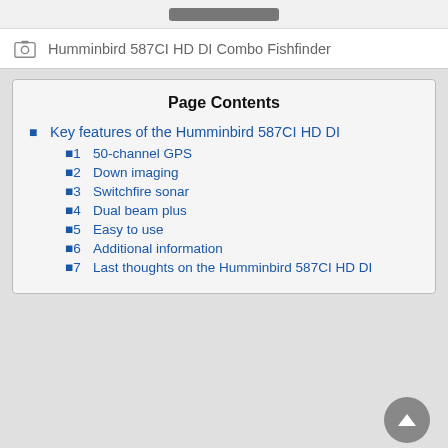Humminbird 587CI HD DI Combo Fishfinder
Page Contents
1  Key features of the Humminbird 587CI HD DI
1.1  50-channel GPS
1.2  Down imaging
1.3  Switchfire sonar
1.4  Dual beam plus
1.5  Easy to use
1.6  Additional information
1.7  Last thoughts on the Humminbird 587CI HD DI